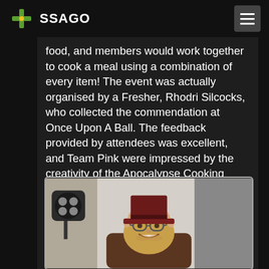SSAGO
food, and members would work together to cook a meal using a combination of every item! The event was actually organised by a Fresher, Rhodri Silcocks, who collected the commendation at Once Upon A Ball. The feedback provided by attendees was excellent, and Team Pink were impressed by the creativity of the Apocalypse Cooking concept.
[Figure (photo): A smiling person with long hair wearing round glasses and a dark red/maroon top hat, photographed against a light background with a studio light visible to the left.]